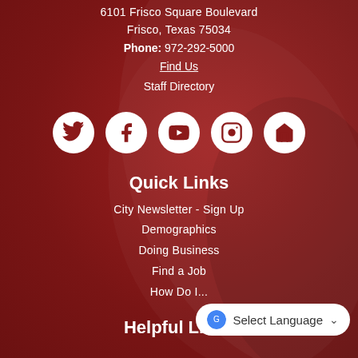6101 Frisco Square Boulevard
Frisco, Texas 75034
Phone: 972-292-5000
Find Us
Staff Directory
[Figure (infographic): Row of 5 social media icon circles: Twitter, Facebook, YouTube, Instagram, and a house/home icon, all white circles on dark red background]
Quick Links
City Newsletter - Sign Up
Demographics
Doing Business
Find a Job
How Do I...
Helpful Links
Select Language